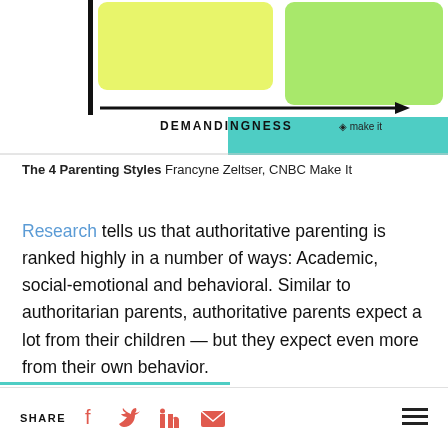[Figure (infographic): Partial view of a 4-quadrant parenting styles chart showing two colored boxes (yellow-green and green) with text about social-emotional and behavioral needs, a demandingness arrow axis, and a CNBC Make It watermark.]
The 4 Parenting Styles Francyne Zeltser, CNBC Make It
Research tells us that authoritative parenting is ranked highly in a number of ways: Academic, social-emotional and behavioral. Similar to authoritarian parents, authoritative parents expect a lot from their children — but they expect even more from their own behavior.
SHARE [facebook] [twitter] [linkedin] [email] [menu]